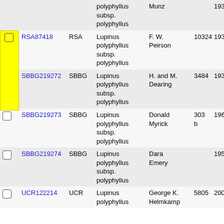|  | Catalog # | Inst. | Taxon | Collector | Coll. # | Year |
| --- | --- | --- | --- | --- | --- | --- |
|  |  |  | polyphyllus subsp. polyphyllus | Munz |  | 1932- |
| [checked] | RSA87418 | RSA | Lupinus polyphyllus subsp. polyphyllus | F. W. Peirson | 10324 | 1932- |
|  | SBBG219272 | SBBG | Lupinus polyphyllus subsp. polyphyllus | H. and M. Dearing | 3484 | 1939- |
|  | SBBG219273 | SBBG | Lupinus polyphyllus subsp. polyphyllus | Donald Myrick | 303 b | 1961- |
|  | SBBG219274 | SBBG | Lupinus polyphyllus subsp. polyphyllus | Dara Emery |  | 1950- |
|  | UCR122214 | UCR | Lupinus polyphyllus | George K. Helmkamp | 5805 | 2000- |